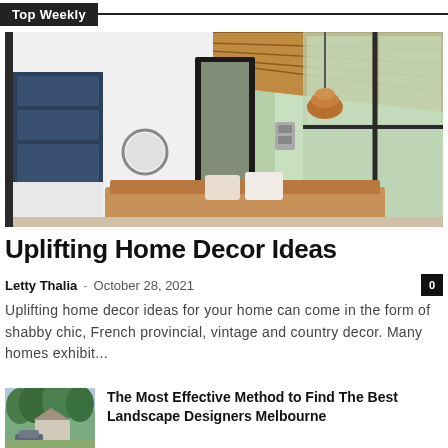Top Weekly
[Figure (photo): Interior photo of a modern mid-century living room with wood-paneled sloped ceiling, large floor-to-ceiling windows with green trees outside, a hanging rattan pendant light, navy blue built-in shelving on the left, a round mirror, and a leather sofa with cushions in the foreground.]
Uplifting Home Decor Ideas
Letty Thalia – October 28, 2021   0
Uplifting home decor ideas for your home can come in the form of shabby chic, French provincial, vintage and country decor. Many homes exhibit...
[Figure (photo): Outdoor photo of a house with lush green trees and a parked car in the driveway.]
The Most Effective Method to Find The Best Landscape Designers Melbourne